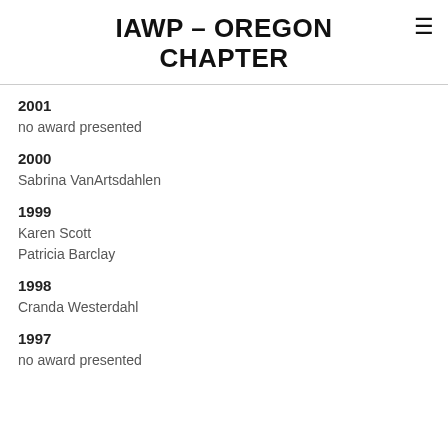IAWP – OREGON CHAPTER
2001
no award presented
2000
Sabrina VanArtsdahlen
1999
Karen Scott
Patricia Barclay
1998
Cranda Westerdahl
1997
no award presented